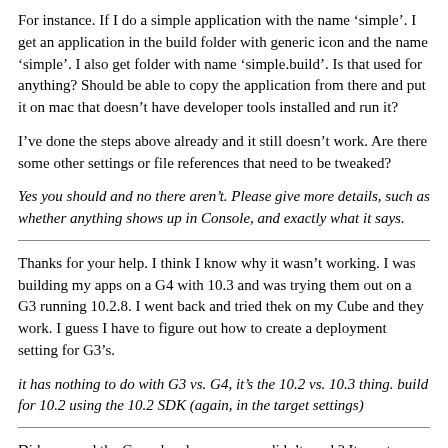For instance. If I do a simple application with the name ‘simple’. I get an application in the build folder with generic icon and the name ‘simple’. I also get folder with name ‘simple.build’. Is that used for anything? Should be able to copy the application from there and put it on mac that doesn’t have developer tools installed and run it?
I’ve done the steps above already and it still doesn’t work. Are there some other settings or file references that need to be tweaked?
Yes you should and no there aren’t. Please give more details, such as whether anything shows up in Console, and exactly what it says.
Thanks for your help. I think I know why it wasn’t working. I was building my apps on a G4 with 10.3 and was trying them out on a G3 running 10.2.8. I went back and tried thek on my Cube and they work. I guess I have to figure out how to create a deployment setting for G3’s.
it has nothing to do with G3 vs. G4, it’s the 10.2 vs. 10.3 thing. build for 10.2 using the 10.2 SDK (again, in the target settings)
Did you read the Console when your app didn’t work? It most